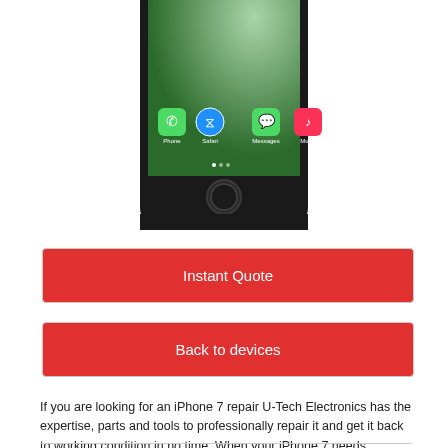[Figure (photo): Bottom portion of a black iPhone 7 showing the home screen with Phone, Safari, Messages, and Music app icons, and a circular home button below the screen.]
Instant Quote
Back to devices
If you are looking for an iPhone 7 repair U-Tech Electronics has the expertise, parts and tools to professionally repair it and get it back to working condition in no time. When your iPhone 7 needs anything from a screen repair to a battery replacement you can count on our experience to get it done fast and efficiently.